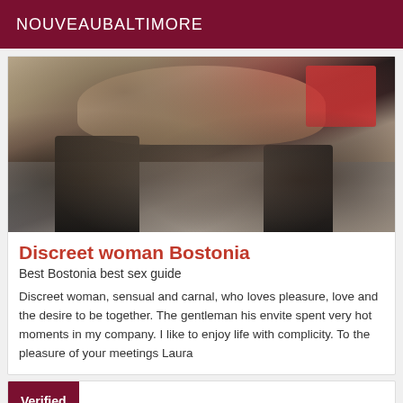NOUVEAUBALTIMORE
[Figure (photo): Photo of a woman in black stockings on a bed with grey blanket, red garment visible in background]
Discreet woman Bostonia
Best Bostonia best sex guide
Discreet woman, sensual and carnal, who loves pleasure, love and the desire to be together. The gentleman his envite spent very hot moments in my company. I like to enjoy life with complicity. To the pleasure of your meetings Laura
Verified